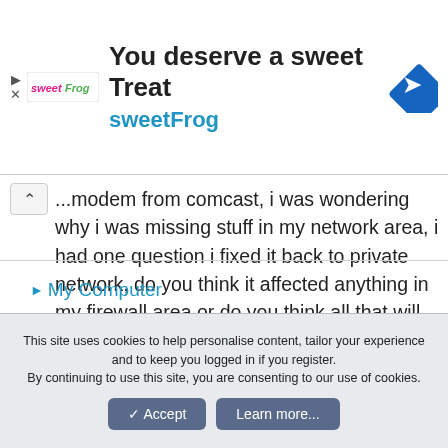[Figure (other): sweetFrog advertisement banner with logo, text 'You deserve a sweet Treat', 'sweetFrog', and a navigation/directions icon]
...modem from comcast, i was wondering why i was missing stuff in my network area, i had one question i fixed it back to private network, do you think it affected anything in my firewall area or do you think all that will transfer over now that i made the switch. 🙂 thanks for the awesome tutorial for me to fix this was great.
▶ My Computer
This site uses cookies to help personalise content, tailor your experience and to keep you logged in if you register.
By continuing to use this site, you are consenting to our use of cookies.